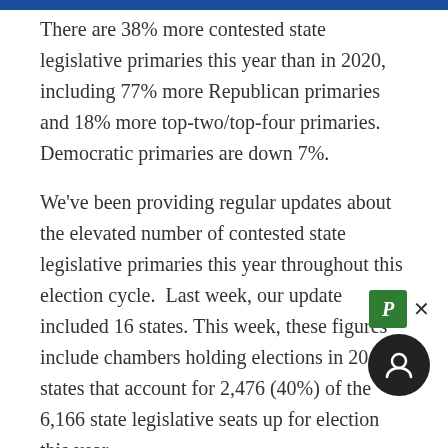There are 38% more contested state legislative primaries this year than in 2020, including 77% more Republican primaries and 18% more top-two/top-four primaries. Democratic primaries are down 7%.
We've been providing regular updates about the elevated number of contested state legislative primaries this year throughout this election cycle. Last week, our update included 16 states. This week, these figures include chambers holding elections in 20 states that account for 2,476 (40%) of the 6,166 state legislative seats up for election this year.
A primary is contested when there are more candidates running than available nominations, meaning at least one candidate must lose.